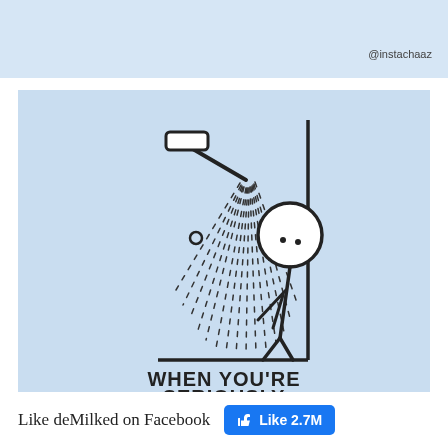@instachaaz
[Figure (illustration): Stick figure comic panel: a stick figure person leaning forward inside a shower stall, with a shower head spraying water diagonally. The scene is on a light blue background. Text at bottom reads 'WHEN YOU'RE SERIOUSLY']
WHEN YOU'RE SERIOUSLY
Like deMilked on Facebook
Like 2.7M